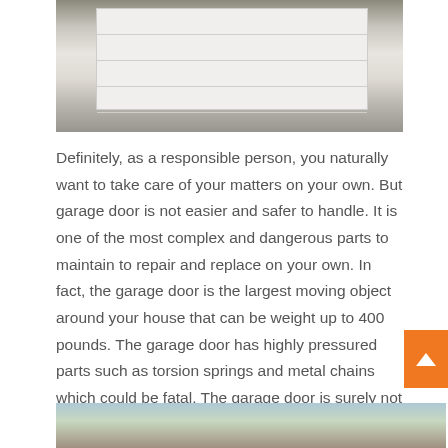[Figure (photo): Photo of a house with a large white double-panel garage door, with trees/bushes on either side]
Definitely, as a responsible person, you naturally want to take care of your matters on your own. But garage door is not easier and safer to handle. It is one of the most complex and dangerous parts to maintain to repair and replace on your own. In fact, the garage door is the largest moving object around your house that can be weight up to 400 pounds. The garage door has highly pressured parts such as torsion springs and metal chains which could be fatal. The garage door is surely not a piece of equipment to mess around with.
[Figure (photo): Partial photo of a house roof/structure visible at bottom of page]